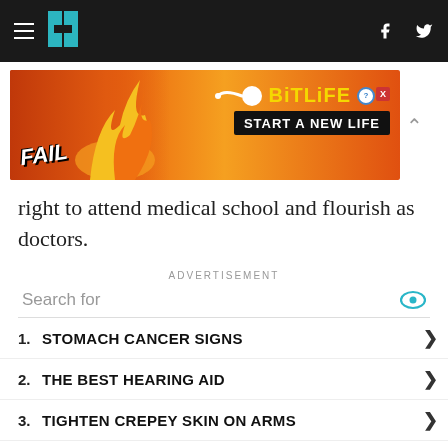HuffPost navigation bar with hamburger menu, logo, Facebook and Twitter icons
[Figure (screenshot): BitLife advertisement banner: 'FAIL' text with cartoon character, flames, BitLife logo and 'START A NEW LIFE' tagline on red/orange background]
right to attend medical school and flourish as doctors.
ADVERTISEMENT
Search for
1. STOMACH CANCER SIGNS
2. THE BEST HEARING AID
3. TIGHTEN CREPEY SKIN ON ARMS
4. HOW TO REMOVE SKIN TAGS
5. 10 FOODS THAT HELP SLEEP